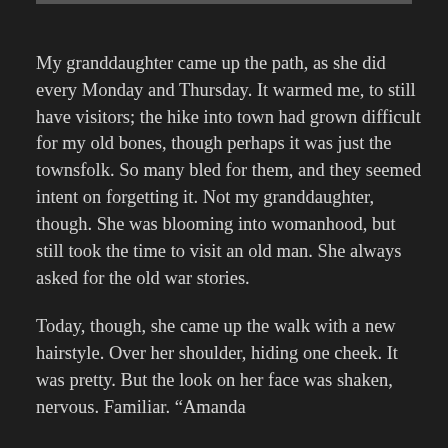My granddaughter came up the path, as she did every Monday and Thursday. It warmed me, to still have visitors; the hike into town had grown difficult for my old bones, though perhaps it was just the townsfolk. So many bled for them, and they seemed intent on forgetting it. Not my granddaughter, though. She was blooming into womanhood, but still took the time to visit an old man. She always asked for the old war stories.
Today, though, she came up the walk with a new hairstyle. Over her shoulder, hiding one cheek. It was pretty. But the look on her face was shaken, nervous. Familiar. “Amanda